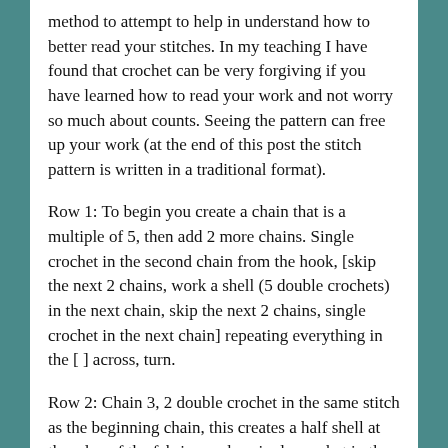method to attempt to help in understand how to better read your stitches. In my teaching I have found that crochet can be very forgiving if you have learned how to read your work and not worry so much about counts. Seeing the pattern can free up your work (at the end of this post the stitch pattern is written in a traditional format).
Row 1: To begin you create a chain that is a multiple of 5, then add 2 more chains. Single crochet in the second chain from the hook, [skip the next 2 chains, work a shell (5 double crochets) in the next chain, skip the next 2 chains, single crochet in the next chain] repeating everything in the [ ] across, turn.
Row 2: Chain 3, 2 double crochet in the same stitch as the beginning chain, this creates a half shell at the edge of the fabric, work a single crochet in the center double crochet of the next shell, [then work a shell in the next single crochet (between shells), work a single crochet in the center double crochet of next shell] repeat everything